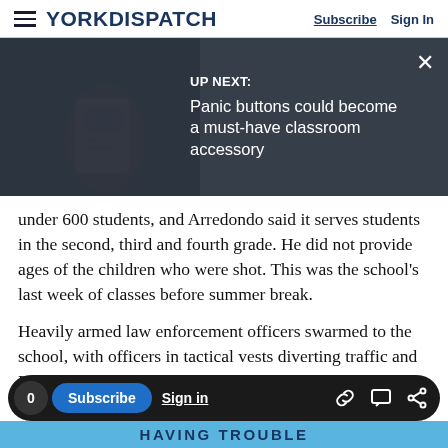YORK DISPATCH | Subscribe  Sign In
[Figure (screenshot): UP NEXT banner overlay on photo: 'UP NEXT: Panic buttons could become a must-have classroom accessory' with close X button, over a photo of a hand holding a device]
under 600 students, and Arredondo said it serves students in the second, third and fourth grade. He did not provide ages of the children who were shot. This was the school's last week of classes before summer break.
Heavily armed law enforcement officers swarmed to the school, with officers in tactical vests diverting traffic and FBI agents coming and going from the building.
0  Subscribe  Sign in  [link icon] [comment icon] [share icon]
HAVING TROUBLE